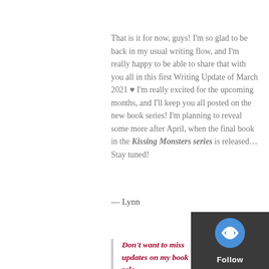That is it for now, guys! I'm so glad to be back in my usual writing flow, and I'm really happy to be able to share that with you all in this first Writing Update of March 2021 ♥ I'm really excited for the upcoming months, and I'll keep you all posted on the new book series! I'm planning to reveal some more after April, when the final book in the Kissing Monsters series is released... Stay tuned!
— Lynn
Don't want to miss updates on my book rele… Then please subscribe to my blog (scroll all t… up, and you'll find the subscribe button to yo…